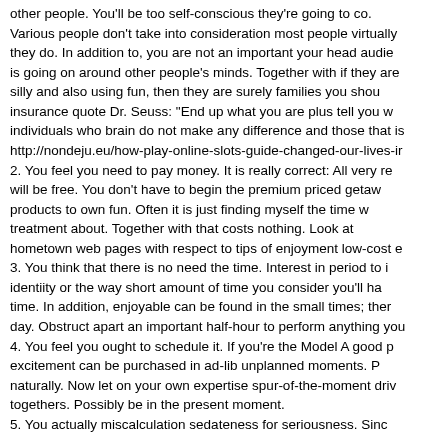other people. You'll be too self-conscious they're going to co. Various people don't take into consideration most people virtually they do. In addition to, you are not an important your head audie is going on around other people's minds. Together with if they are silly and also using fun, then they are surely families you shou insurance quote Dr. Seuss: "End up what you are plus tell you w individuals who brain do not make any difference and those that is http://nondeju.eu/how-play-online-slots-guide-changed-our-lives-ir 2. You feel you need to pay money. It is really correct: All very re will be free. You don't have to begin the premium priced getaw products to own fun. Often it is just finding myself the time w treatment about. Together with that costs nothing. Look at hometown web pages with respect to tips of enjoyment low-cost e 3. You think that there is no need the time. Interest in period to i identiity or the way short amount of time you consider you'll ha time. In addition, enjoyable can be found in the small times; ther day. Obstruct apart an important half-hour to perform anything you 4. You feel you ought to schedule it. If you're the Model A good p excitement can be purchased in ad-lib unplanned moments. P naturally. Now let on your own expertise spur-of-the-moment driv togethers. Possibly be in the present moment. 5. You actually miscalculation sedateness for seriousness. Sinc